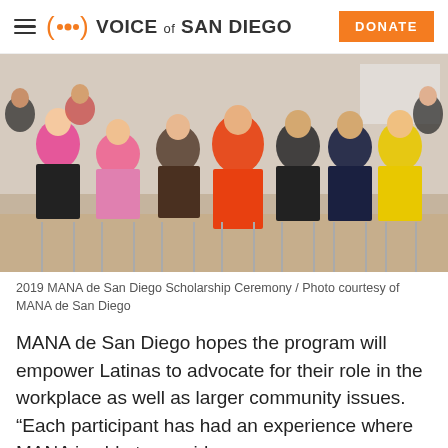VOICE of SAN DIEGO | DONATE
[Figure (photo): Group photo of attendees at the 2019 MANA de San Diego Scholarship Ceremony, people seated and standing in rows, wearing colorful outfits.]
2019 MANA de San Diego Scholarship Ceremony / Photo courtesy of MANA de San Diego
MANA de San Diego hopes the program will empower Latinas to advocate for their role in the workplace as well as larger community issues. “Each participant has had an experience where MANA is able to provide